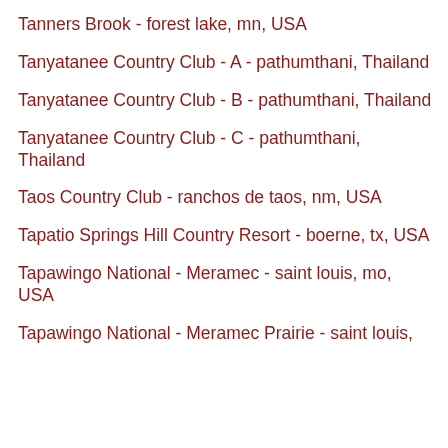Tanners Brook - forest lake, mn, USA
Tanyatanee Country Club - A - pathumthani, Thailand
Tanyatanee Country Club - B - pathumthani, Thailand
Tanyatanee Country Club - C - pathumthani, Thailand
Taos Country Club - ranchos de taos, nm, USA
Tapatio Springs Hill Country Resort - boerne, tx, USA
Tapawingo National - Meramec - saint louis, mo, USA
Tapawingo National - Meramec Prairie - saint louis,